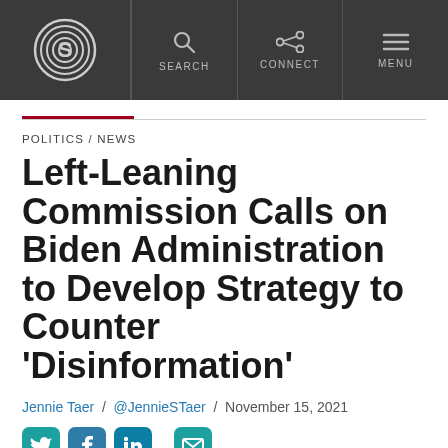SEARCH / CONNECT / MENU
POLITICS / NEWS
Left-Leaning Commission Calls on Biden Administration to Develop Strategy to Counter 'Disinformation'
Jennie Taer / @JennnieSTaer / November 15, 2021
[Figure (other): Social sharing icons: Twitter, Facebook, LinkedIn, Email]